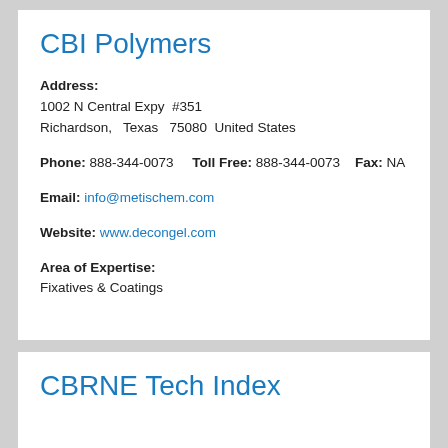CBI Polymers
Address:
1002 N Central Expy  #351
Richardson,   Texas   75080  United States
Phone: 888-344-0073    Toll Free: 888-344-0073    Fax: NA
Email: info@metischem.com
Website: www.decongel.com
Area of Expertise:
Fixatives & Coatings
CBRNE Tech Index